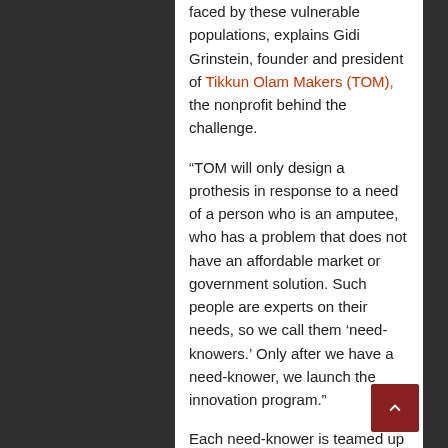faced by these vulnerable populations, explains Gidi Grinstein, founder and president of Tikkun Olam Makers (TOM), the nonprofit behind the challenge.
“TOM will only design a prothesis in response to a need of a person who is an amputee, who has a problem that does not have an affordable market or government solution. Such people are experts on their needs, so we call them ‘need-knowers.’ Only after we have a need-knower, we launch the innovation program.”
Each need-knower is teamed up with a voluntary group of programmers, designers, engineers and care professionals to find a workable